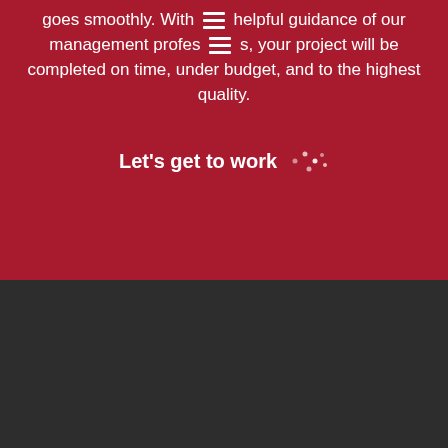goes smoothly. With the helpful guidance of our management professionals, your project will be completed on time, under budget, and to the highest quality.
Let's get to work →
[Figure (logo): NGC New Generation logo in white on dark background]